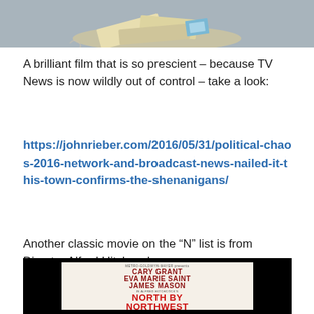[Figure (photo): Top portion of a photo showing newspapers scattered on the ground]
A brilliant film that is so prescient – because TV News is now wildly out of control – take a look:
https://johnrieber.com/2016/05/31/political-chaos-2016-network-and-broadcast-news-nailed-it-this-town-confirms-the-shenanigans/
Another classic movie on the “N” list is from Director Alfred Hitchcock:
[Figure (photo): Movie poster for North by Northwest, showing Cary Grant, Eva Marie Saint, James Mason, in Alfred Hitchcock's North by Northwest, Metro-Goldwyn-Mayer]